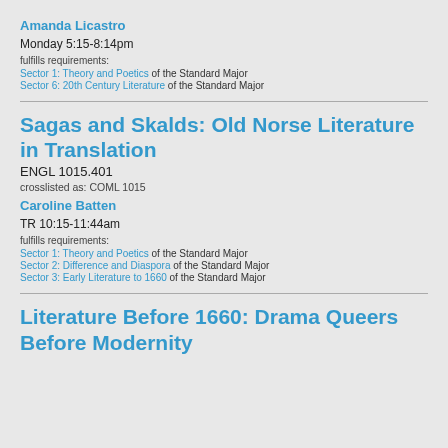Amanda Licastro
Monday 5:15-8:14pm
fulfills requirements:
Sector 1: Theory and Poetics of the Standard Major
Sector 6: 20th Century Literature of the Standard Major
Sagas and Skalds: Old Norse Literature in Translation
ENGL 1015.401
crosslisted as: COML 1015
Caroline Batten
TR 10:15-11:44am
fulfills requirements:
Sector 1: Theory and Poetics of the Standard Major
Sector 2: Difference and Diaspora of the Standard Major
Sector 3: Early Literature to 1660 of the Standard Major
Literature Before 1660: Drama Queers Before Modernity